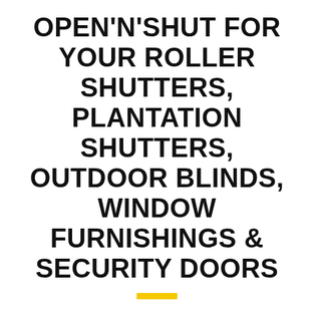OPEN'N'SHUT FOR YOUR ROLLER SHUTTERS, PLANTATION SHUTTERS, OUTDOOR BLINDS, WINDOW FURNISHINGS & SECURITY DOORS
[Figure (other): A short horizontal yellow/gold decorative bar beneath the title text]